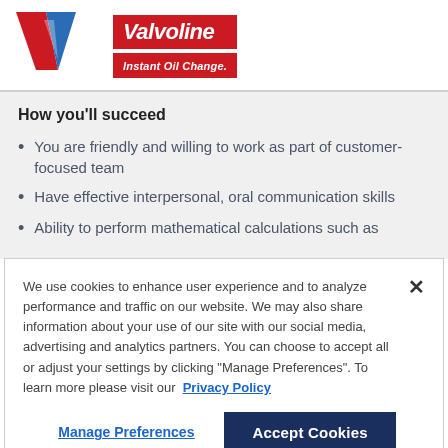[Figure (logo): Valvoline Instant Oil Change logo with red 'V' and blue checkmark shape, plus red rectangular brand name block]
How you'll succeed
You are friendly and willing to work as part of customer-focused team
Have effective interpersonal, oral communication skills
Ability to perform mathematical calculations such as
We use cookies to enhance user experience and to analyze performance and traffic on our website. We may also share information about your use of our site with our social media, advertising and analytics partners. You can choose to accept all or adjust your settings by clicking "Manage Preferences". To learn more please visit our Privacy Policy
Manage Preferences | Accept Cookies